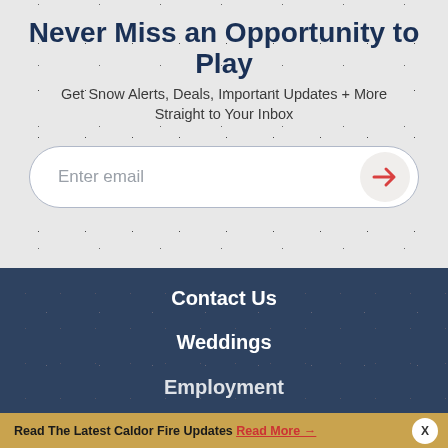Never Miss an Opportunity to Play
Get Snow Alerts, Deals, Important Updates + More Straight to Your Inbox
[Figure (screenshot): Email signup form input field with placeholder text 'Enter email' and a red arrow submit button on the right]
Contact Us
Weddings
Employment
Read The Latest Caldor Fire Updates Read More →